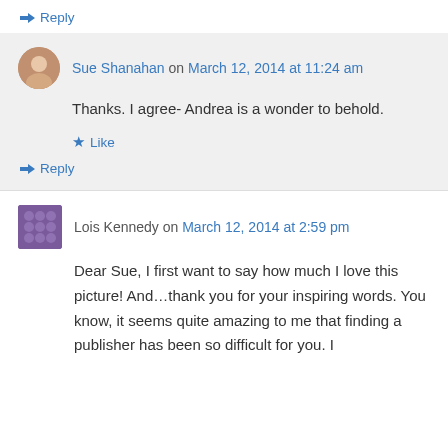↳ Reply
Sue Shanahan on March 12, 2014 at 11:24 am
Thanks. I agree- Andrea is a wonder to behold.
★ Like
↳ Reply
Lois Kennedy on March 12, 2014 at 2:59 pm
Dear Sue, I first want to say how much I love this picture! And…thank you for your inspiring words. You know, it seems quite amazing to me that finding a publisher has been so difficult for you. I